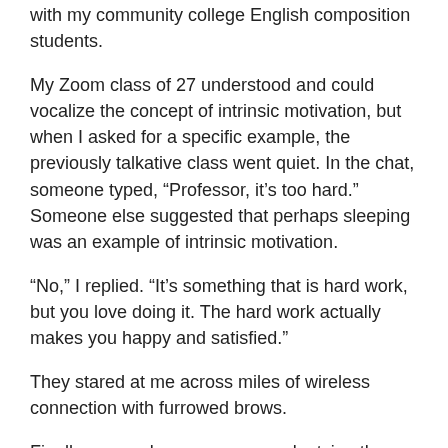with my community college English composition students.
My Zoom class of 27 understood and could vocalize the concept of intrinsic motivation, but when I asked for a specific example, the previously talkative class went quiet. In the chat, someone typed, “Professor, it’s too hard.” Someone else suggested that perhaps sleeping was an example of intrinsic motivation.
“No,” I replied. “It’s something that is hard work, but you love doing it. The hard work actually makes you happy and satisfied.”
They stared at me across miles of wireless connection with furrowed brows.
Finally, we made some progress by tying the concept to sports. But imagine: Not a single student could even conceive of intrinsic motivation as something that one might experience in school. And these are college students.
Allow that to sink in for a moment.